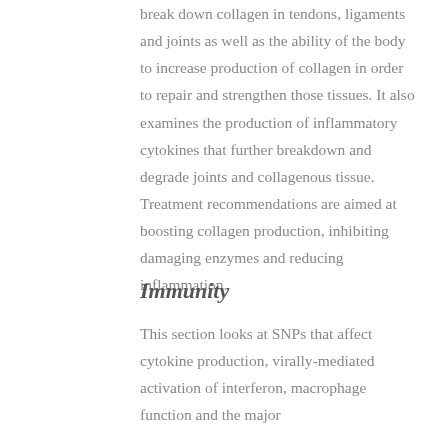break down collagen in tendons, ligaments and joints as well as the ability of the body to increase production of collagen in order to repair and strengthen those tissues. It also examines the production of inflammatory cytokines that further breakdown and degrade joints and collagenous tissue. Treatment recommendations are aimed at boosting collagen production, inhibiting damaging enzymes and reducing inflammation.
Immunity
This section looks at SNPs that affect cytokine production, virally-mediated activation of interferon, macrophage function and the major